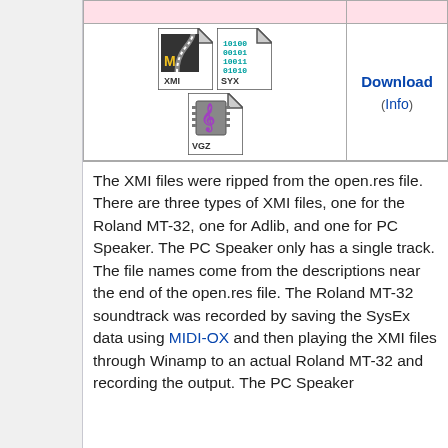| [XMI icon] [SYX icon] [VGZ icon] | Download
(Info) |
The XMI files were ripped from the open.res file. There are three types of XMI files, one for the Roland MT-32, one for Adlib, and one for PC Speaker. The PC Speaker only has a single track. The file names come from the descriptions near the end of the open.res file. The Roland MT-32 soundtrack was recorded by saving the SysEx data using MIDI-OX and then playing the XMI files through Winamp to an actual Roland MT-32 and recording the output. The PC Speaker